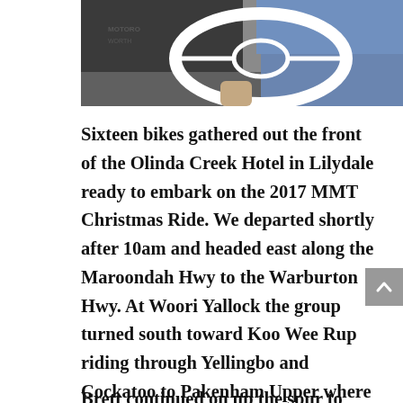[Figure (photo): Photo of a person holding a white circular steering wheel, viewed from above/side angle, wearing a dark shirt with partial text visible.]
Sixteen bikes gathered out the front of the Olinda Creek Hotel in Lilydale ready to embark on the 2017 MMT Christmas Ride. We departed shortly after 10am and headed east along the Maroondah Hwy to the Warburton Hwy. At Woori Yallock the group turned south toward Koo Wee Rup riding through Yellingbo and Cockatoo to Pakenham Upper where we headed back north along the Gembrook – Beenak Road to Launching Place, and back on the Warburton Hwy just 4 kilometres down the road from where we left the Warburton Hwy 90 mins earlier.  Continuing along the Warburton Hwy through Warburton and Reefton where we stopped for a regroup at the southern end of the Reefton Spur.
Brett continued on up the spur to stop at good photo